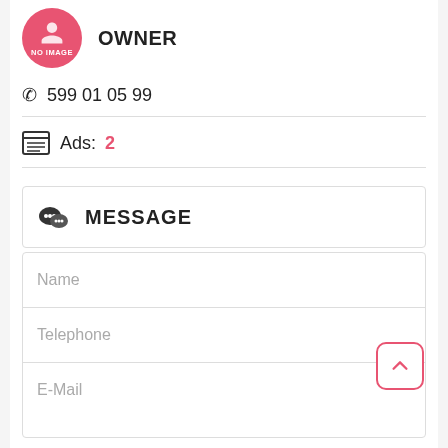[Figure (illustration): Pink circular avatar with person silhouette icon and 'NO IMAGE' label]
OWNER
☎ 599 01 05 99
Ads: 2
MESSAGE
Name
Telephone
E-Mail